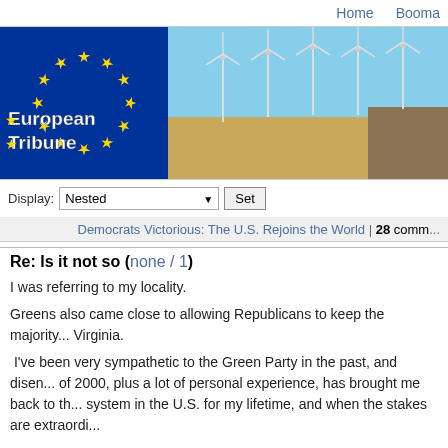Home  Booma...
[Figure (illustration): European Tribune banner with EU flag on left (blue background with yellow stars and 'European Tribune' text) and wind farm landscape on right]
Display: Nested [dropdown] Set
Democrats Victorious: The U.S. Rejoins the World | 28 comm...
Re: Is it not so (none / 1)
I was referring to my locality.
Greens also came close to allowing Republicans to keep the majority... Virginia.
I've been very sympathetic to the Green Party in the past, and disen... of 2000, plus a lot of personal experience, has brought me back to th... system in the U.S. for my lifetime, and when the stakes are extraordi...